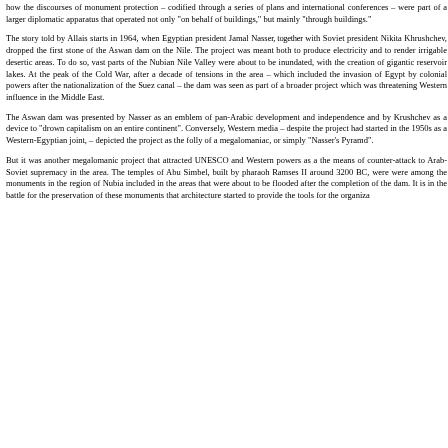how the discourses of monument protection – codified through a series of plans and international conferences – were part of a larger diplomatic apparatus that operated not only "on behalf of buildings," but mainly "through buildings."
The story told by Allais starts in 1964, when Egyptian president Jamal Nasser, together with Soviet president Nikita Khrushchev, dropped the first stone of the Aswan dam on the Nile. The project was meant both to produce electricity and to render irrigable desertic areas. To do so, vast parts of the Nubian Nile Valley were about to be inundated, with the creation of gigantic reservoir lakes. At the peak of the Cold War, after a decade of tensions in the area – which included the invasion of Egypt by colonial powers after the nationalization of the Suez canal – the dam was seen as part of a broader project which was threatening Western influence in the Middle East.
The Aswan dam was presented by Nasser as an emblem of pan-Arabic development and independence and by Krushchev as a device to "drown capitalism on an entire continent". Conversely, Western media – despite the project had started in the 1950s as a Western-Egyptian joint, – depicted the project as the folly of a megalomaniac, or simply "Nasser's Pyramd".
But it was another megalomanic project that attracted UNESCO and Western powers as a the means of counter-attack to Arab-Soviet supremacy in the area. The temples of Abu Simbel, built by pharaoh Ramses II around 3200 BC, were were among the monuments in the region of Nubia included in the areas that were about to be flooded after the completion of the dam. It is in the battle for the preservation of these monuments that architecture started to provide the tools for the organiza